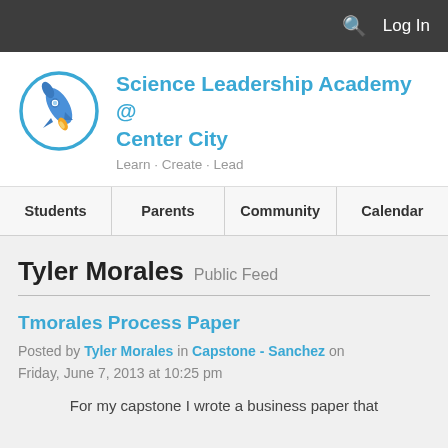Log In
Science Leadership Academy @ Center City
Learn · Create · Lead
Students | Parents | Community | Calendar
Tyler Morales Public Feed
Tmorales Process Paper
Posted by Tyler Morales in Capstone - Sanchez on Friday, June 7, 2013 at 10:25 pm
For my capstone I wrote a business paper that